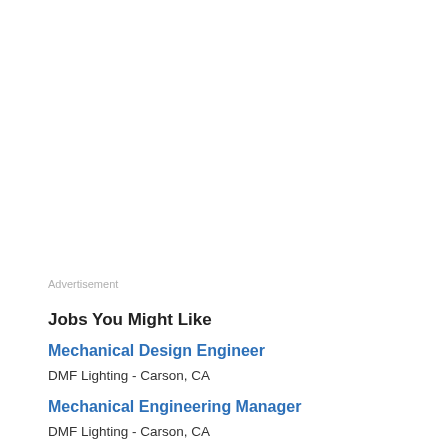Advertisement
Jobs You Might Like
Mechanical Design Engineer
DMF Lighting - Carson, CA
Mechanical Engineering Manager
DMF Lighting - Carson, CA